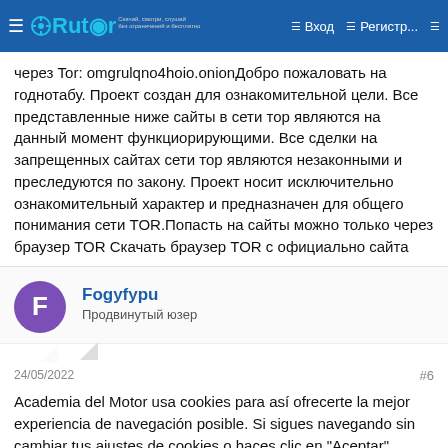Rutor | Вход | Регистр...
через Tor: omgrulqno4hoio.onionДобро пожаловать на годнотабу. Проект создан для ознакомительной цели. Все представленные ниже сайты в сети тор являются на данный момент функциорирующими. Все сделки на запрещенных сайтах сети тор являются незаконными и преследуются по закону. Проект носит исключительно ознакомительный характер и предназначен для общего понимания сети TOR.Попасть на сайты можно только через браузер TOR Скачать браузер TOR с официально сайта
Fogyfypu
Продвинутый юзер
24/05/2022
#6
Academia del Motor usa cookies para así ofrecerte la mejor experiencia de navegación posible. Si sigues navegando sin cambiar tus ajustes de cookies o haces clic en "Aceptar" estarás dando tu consentimiento a la utilización de cookies. En